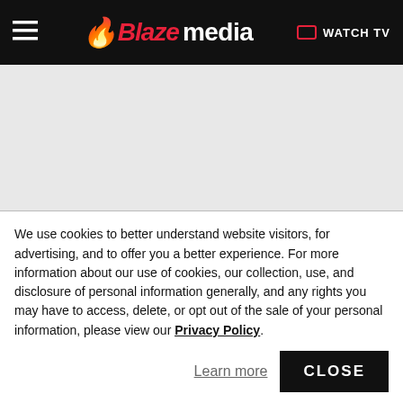Blaze Media — WATCH TV
[Figure (other): Gray advertisement placeholder area]
Blaze Media / Conservative Review
Desert survival courses in Egypt? Trump administration sys wasteful foreign aid
We use cookies to better understand website visitors, for advertising, and to offer you a better experience. For more information about our use of cookies, our collection, use, and disclosure of personal information generally, and any rights you may have to access, delete, or opt out of the sale of your personal information, please view our Privacy Policy.
Learn more  CLOSE